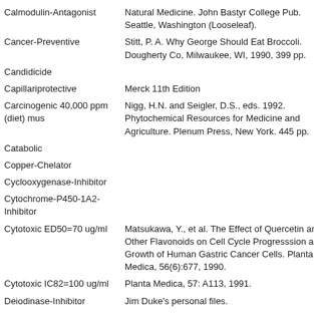| Activity | Reference |
| --- | --- |
| Calmodulin-Antagonist | Natural Medicine. John Bastyr College Pub. Seattle, Washington (Looseleaf). |
| Cancer-Preventive | Stitt, P. A. Why George Should Eat Broccoli. Dougherty Co, Milwaukee, WI, 1990, 399 pp. |
| Candidicide |  |
| Capillariprotective | Merck 11th Edition |
| Carcinogenic 40,000 ppm (diet) mus | Nigg, H.N. and Seigler, D.S., eds. 1992. Phytochemical Resources for Medicine and Agriculture. Plenum Press, New York. 445 pp. |
| Catabolic |  |
| Copper-Chelator |  |
| Cyclooxygenase-Inhibitor |  |
| Cytochrome-P450-1A2-Inhibitor |  |
| Cytotoxic ED50=70 ug/ml | Matsukawa, Y., et al. The Effect of Quercetin and Other Flavonoids on Cell Cycle Progresssion and Growth of Human Gastric Cancer Cells. Planta Medica, 56(6):677, 1990. |
| Cytotoxic IC82=100 ug/ml | Planta Medica, 57: A113, 1991. |
| Deiodinase-Inhibitor | Jim Duke's personal files. |